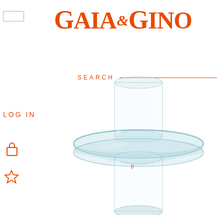[Figure (logo): Gaia e Gino brand logo in orange on white background]
SEARCH
LOG IN
[Figure (illustration): Clear glass candle holder / vase with cylindrical top and bottom sections connected by a wide circular flat disc in the middle, photographed on white background]
0